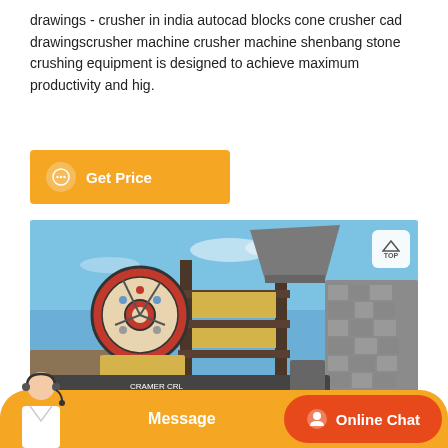drawings - crusher in india autocad blocks cone crusher cad drawingscrusher machine crusher machine shenbang stone crushing equipment is designed to achieve maximum productivity and hig.
[Figure (other): Orange 'Get Price' button with chat icon]
[Figure (photo): Photo of a large industrial stone crusher machine with a circular flywheel on the left and a multi-story steel frame structure, set outdoors against a blue sky with rocky terrain in the background.]
[Figure (other): Bottom bar with orange background, customer service avatar on the left, 'Message' text in center, and 'Online Chat' button on the right with headset icon.]